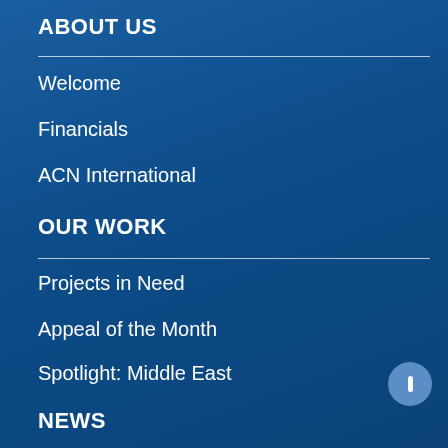ABOUT US
Welcome
Financials
ACN International
OUR WORK
Projects in Need
Appeal of the Month
Spotlight: Middle East
NEWS
The Suffering Church
Report on Persecution